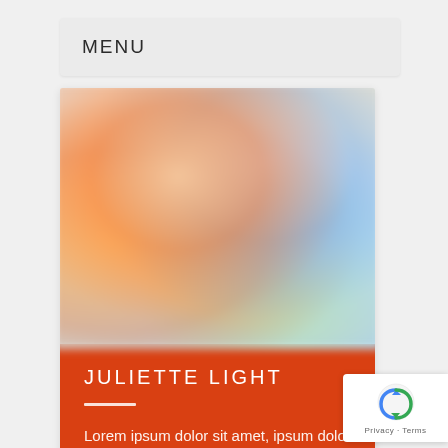MENU
[Figure (photo): Blurred photo of children engaged in an activity, colorful clothing, warm tones]
JULIETTE LIGHT
Lorem ipsum dolor sit amet, ipsum dolor sit amet, ipsum dolor sit amet,